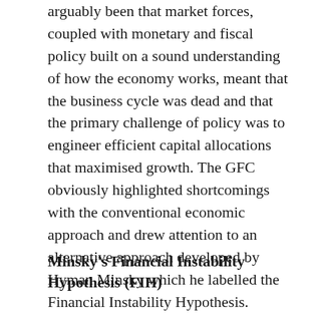arguably been that market forces, coupled with monetary and fiscal policy built on a sound understanding of how the economy works, meant that the business cycle was dead and that the primary challenge of policy was to engineer efficient capital allocations that maximised growth. The GFC obviously highlighted shortcomings with the conventional economic approach and drew attention to an alternative approach developed by Hyman Minsky which he labelled the Financial Instability Hypothesis.
Minsky's Financial Instability Hypothesis (FIH)